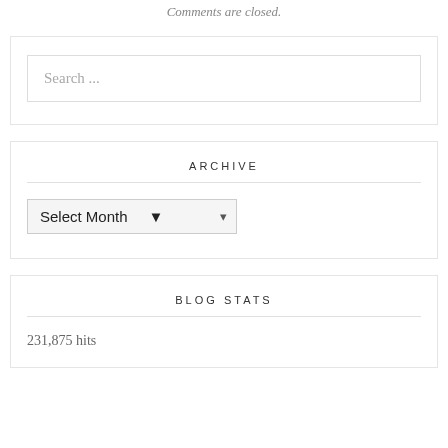Comments are closed.
Search ...
ARCHIVE
Select Month
BLOG STATS
231,875 hits